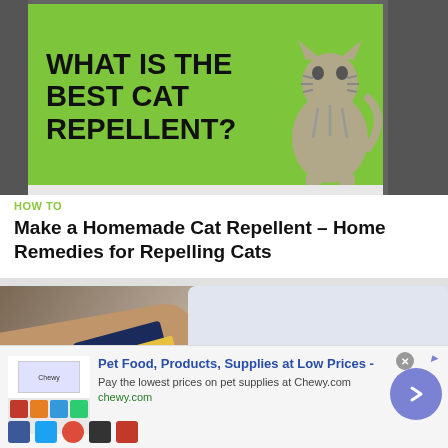[Figure (photo): Green sign reading 'WHAT IS THE BEST CAT REPELLENT?' with a cat illustration on the right side, against a grey background]
HOW TO
Make a Homemade Cat Repellent – Home Remedies for Repelling Cats
[Figure (photo): Person holding a book or pamphlet near a bed with white pillows]
[Figure (screenshot): Advertisement for Chewy.com: Pet Food, Products, Supplies at Low Prices - Pay the lowest prices on pet supplies at Chewy.com. chewy.com. With a right-arrow button and close button.]